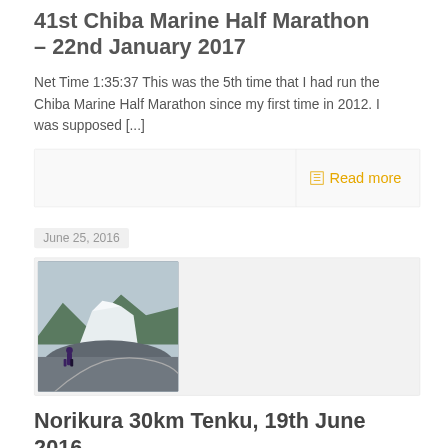41st Chiba Marine Half Marathon – 22nd January 2017
Net Time 1:35:37 This was the 5th time that I had run the Chiba Marine Half Marathon since my first time in 2012. I was supposed [...]
Read more
June 25, 2016
[Figure (photo): Photo of a large snow mound on a mountain road with a person walking past]
Norikura 30km Tenku, 19th June 2016
This road race is an offbeat challenge, and one of the few races where I carry my phone to take photographs because the scenery is so [...]